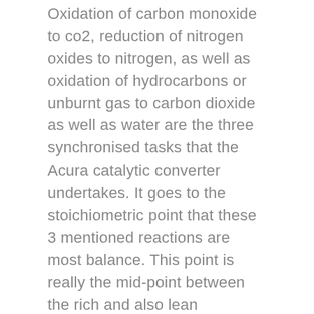Oxidation of carbon monoxide to co2, reduction of nitrogen oxides to nitrogen, as well as oxidation of hydrocarbons or unburnt gas to carbon dioxide as well as water are the three synchronised tasks that the Acura catalytic converter undertakes. It goes to the stoichiometric point that these 3 mentioned reactions are most balance. This point is really the mid-point between the rich and also lean operation.The very first part is the core, driver support, or substrate. Most often than now, this is a ceramic honeycomb, however, there are also various other manufacturers who make use of stainless steel aluminum foil honeycombs rather than the ceramic ones. One more part of the Acura catalytic converter is the wash coat. It is a blend of silicon and light weight aluminum so as to make the converter much more efficient. When this is really contributed